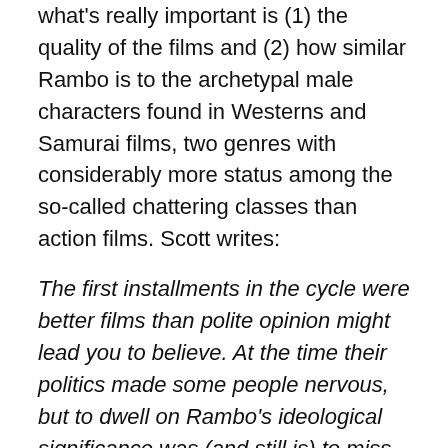what's really important is (1) the quality of the films and (2) how similar Rambo is to the archetypal male characters found in Westerns and Samurai films, two genres with considerably more status among the so-called chattering classes than action films. Scott writes:
The first installments in the cycle were better films than polite opinion might lead you to believe. At the time their politics made some people nervous, but to dwell on Rambo's ideological significance was (and still is) to miss his kinship with the samurais and gunslingers of older movies.
My point here is to suggest that Rambo (both the character and the movie franchise) deserve to be taken seriously. To its credit, the New York Times published an article titled "Tough Guys For Tough Times" a couple